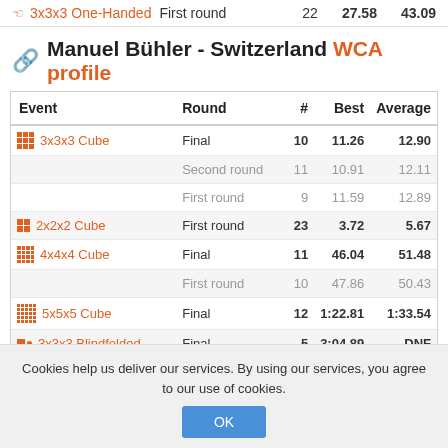| Event | Round | # | Best | Average |
| --- | --- | --- | --- | --- |
| 3x3x3 One-Handed | First round | 22 | 27.58 | 43.09 |
Manuel Bühler - Switzerland WCA profile
| Event | Round | # | Best | Average |
| --- | --- | --- | --- | --- |
| 3x3x3 Cube | Final | 10 | 11.26 | 12.90 |
|  | Second round | 11 | 10.91 | 12.11 |
|  | First round | 9 | 11.59 | 12.89 |
| 2x2x2 Cube | First round | 23 | 3.72 | 5.67 |
| 4x4x4 Cube | Final | 11 | 46.04 | 51.48 |
|  | First round | 10 | 47.86 | 50.43 |
| 5x5x5 Cube | Final | 12 | 1:22.81 | 1:33.54 |
| 3x3x3 Blindfolded | Final | 5 | 3:04.89 | DNF |
Cookies help us deliver our services. By using our services, you agree to our use of cookies.